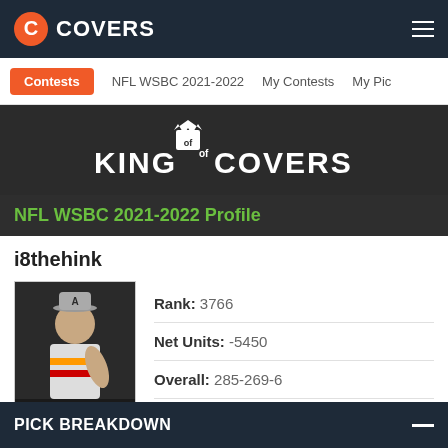COVERS
Contests  NFL WSBC 2021-2022  My Contests  My Pic
[Figure (logo): King of Covers logo on dark background]
NFL WSBC 2021-2022 Profile
i8thehink
[Figure (photo): Profile photo of user i8thehink - young man in baseball uniform with cap]
Rank: 3766
Net Units: -5450
Overall: 285-269-6
Last 10: 6-4-0  Last 20: 12-8-0
PICK BREAKDOWN